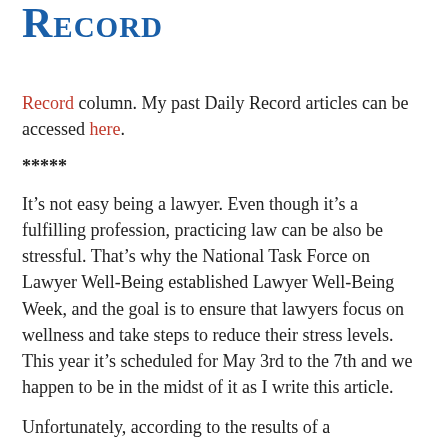Record
Record column. My past Daily Record articles can be accessed here.
*****
It’s not easy being a lawyer. Even though it’s a fulfilling profession, practicing law can be also be stressful. That’s why the National Task Force on Lawyer Well-Being established Lawyer Well-Being Week, and the goal is to ensure that lawyers focus on wellness and take steps to reduce their stress levels. This year it’s scheduled for May 3rd to the 7th and we happen to be in the midst of it as I write this article.
Unfortunately, according to the results of a